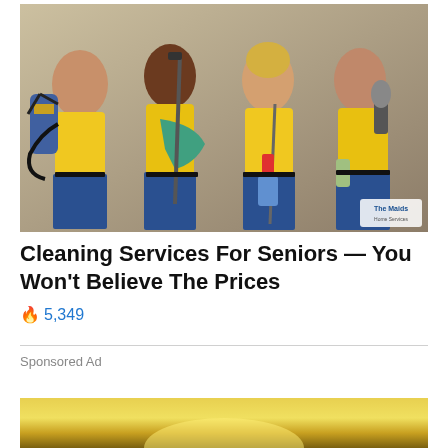[Figure (photo): Four women in yellow polo shirts and blue pants holding cleaning equipment including a backpack vacuum, mop, spray bottles, and brushes, posing together against a beige/tan background. A logo reading 'The Maids' is visible on the right side.]
Cleaning Services For Seniors — You Won't Believe The Prices
🔥 5,349
Sponsored Ad
[Figure (photo): Partial view of a second image with a yellow/gold glowing background, partially visible at the bottom of the page.]